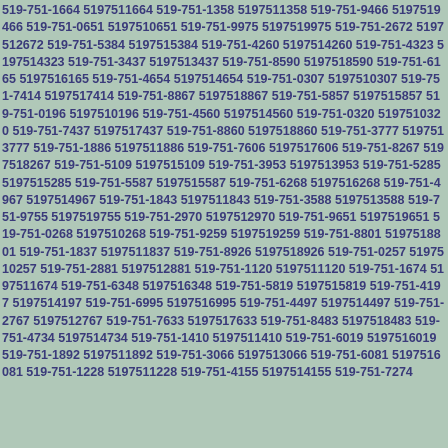519-751-1664 5197511664 519-751-1358 5197511358 519-751-9466 5197519466 519-751-0651 5197510651 519-751-9975 5197519975 519-751-2672 5197512672 519-751-5384 5197515384 519-751-4260 5197514260 519-751-4323 5197514323 519-751-3437 5197513437 519-751-8590 5197518590 519-751-6165 5197516165 519-751-4654 5197514654 519-751-0307 5197510307 519-751-7414 5197517414 519-751-8867 5197518867 519-751-5857 5197515857 519-751-0196 5197510196 519-751-4560 5197514560 519-751-0320 5197510320 519-751-7437 5197517437 519-751-8860 5197518860 519-751-3777 5197513777 519-751-1886 5197511886 519-751-7606 5197517606 519-751-8267 5197518267 519-751-5109 5197515109 519-751-3953 5197513953 519-751-5285 5197515285 519-751-5587 5197515587 519-751-6268 5197516268 519-751-4967 5197514967 519-751-1843 5197511843 519-751-3588 5197513588 519-751-9755 5197519755 519-751-2970 5197512970 519-751-9651 5197519651 519-751-0268 5197510268 519-751-9259 5197519259 519-751-8801 5197518801 519-751-1837 5197511837 519-751-8926 5197518926 519-751-0257 5197510257 519-751-2881 5197512881 519-751-1120 5197511120 519-751-1674 5197511674 519-751-6348 5197516348 519-751-5819 5197515819 519-751-4197 5197514197 519-751-6995 5197516995 519-751-4497 5197514497 519-751-2767 5197512767 519-751-7633 5197517633 519-751-8483 5197518483 519-751-4734 5197514734 519-751-1410 5197511410 519-751-6019 5197516019 519-751-1892 5197511892 519-751-3066 5197513066 519-751-6081 5197516081 519-751-1228 5197511228 519-751-4155 5197514155 519-751-7274